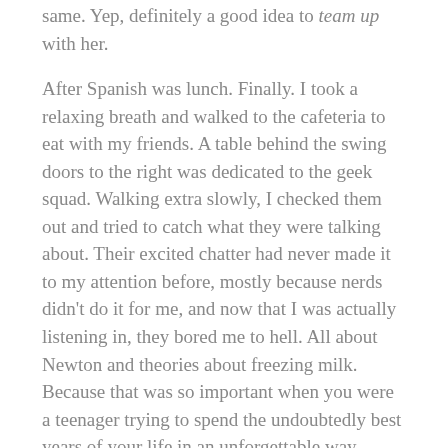same. Yep, definitely a good idea to team up with her.
After Spanish was lunch. Finally. I took a relaxing breath and walked to the cafeteria to eat with my friends. A table behind the swing doors to the right was dedicated to the geek squad. Walking extra slowly, I checked them out and tried to catch what they were talking about. Their excited chatter had never made it to my attention before, mostly because nerds didn't do it for me, and now that I was actually listening in, they bored me to hell. All about Newton and theories about freezing milk. Because that was so important when you were a teenager trying to spend the undoubtedly best years of your life in an unforgettable way.
I watched them for another minute, silently munching my burger as I sat with my team around a table close to the entrance. Strangely enough, the nerd table was full.